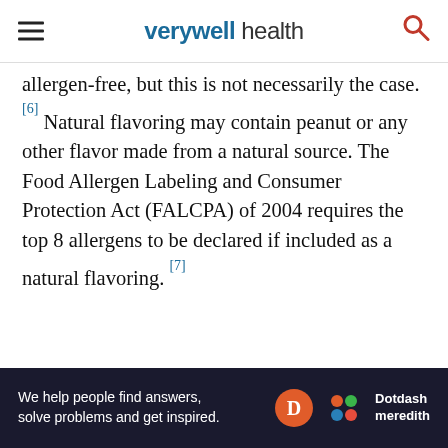verywell health
allergen-free, but this is not necessarily the case. [6] Natural flavoring may contain peanut or any other flavor made from a natural source. The Food Allergen Labeling and Consumer Protection Act (FALCPA) of 2004 requires the top 8 allergens to be declared if included as a natural flavoring. [7]
Advertisement
[Figure (other): Dotdash Meredith advertisement banner — 'We help people find answers, solve problems and get inspired.']